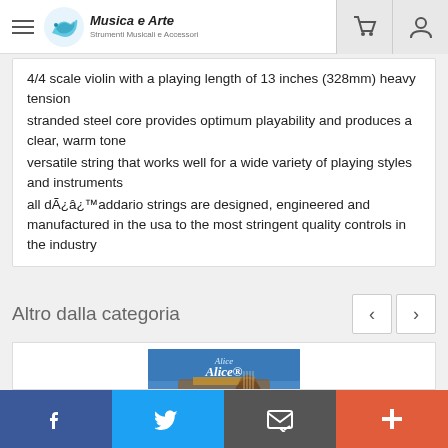Musica e Arte - Strumenti Musicali e Accessori
4/4 scale violin with a playing length of 13 inches (328mm) heavy tension
stranded steel core provides optimum playability and produces a clear, warm tone
versatile string that works well for a wide variety of playing styles and instruments
all dÃ¿â¿™addario strings are designed, engineered and manufactured in the usa to the most stringent quality controls in the industry
Altro dalla categoria
[Figure (photo): Alice Violin Strings product packaging photo]
Social share bar: Facebook, Twitter, Email, Add